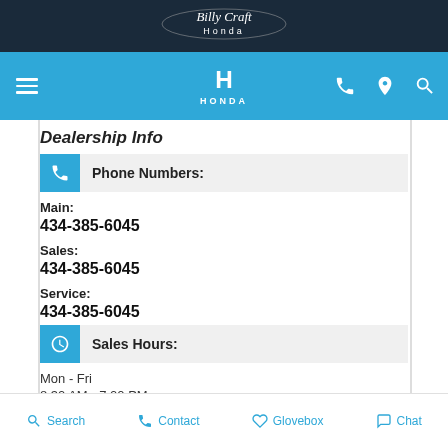[Figure (logo): Billy Craft Honda logo on dark navy bar]
[Figure (screenshot): Blue navigation bar with hamburger menu, Honda wing logo, phone, location, and search icons]
Dealership Info
Phone Numbers:
Main:
434-385-6045
Sales:
434-385-6045
Service:
434-385-6045
Sales Hours:
Mon - Fri
8:30 AM - 7:00 PM
Sat
9:00 AM - 4:00 PM
Sun
Search   Contact   Glovebox   Chat